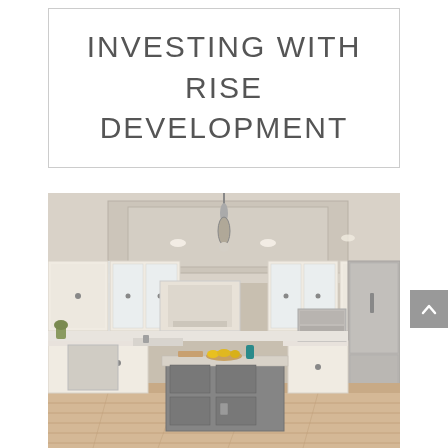INVESTING WITH RISE DEVELOPMENT
[Figure (photo): Interior photo of a modern luxury kitchen with white cabinets, gray kitchen island, stainless steel appliances, pendant lighting, coffered ceiling, and light hardwood floors.]